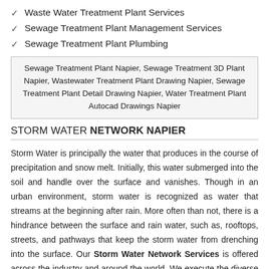Waste Water Treatment Plant Services
Sewage Treatment Plant Management Services
Sewage Treatment Plant Plumbing
Sewage Treatment Plant Napier, Sewage Treatment 3D Plant Napier, Wastewater Treatment Plant Drawing Napier, Sewage Treatment Plant Detail Drawing Napier, Water Treatment Plant Autocad Drawings Napier
STORM WATER NETWORK NAPIER
Storm Water is principally the water that produces in the course of precipitation and snow melt. Initially, this water submerged into the soil and handle over the surface and vanishes. Though in an urban environment, storm water is recognized as water that streams at the beginning after rain. More often than not, there is a hindrance between the surface and rain water, such as, rooftops, streets, and pathways that keep the storm water from drenching into the surface. Our Storm Water Network Services is offered across the industry and around the world. We execute the diverse phases of Storm Water Network Process that characterize our path-breaking Storm Water Network Design and Storm Water Network Management Services.